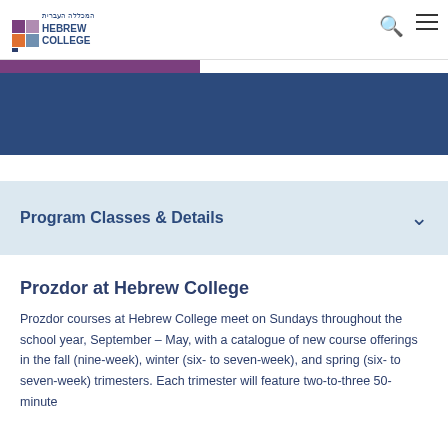Hebrew College
[Figure (logo): Hebrew College logo with colored squares and Hebrew text]
Program Classes & Details
Prozdor at Hebrew College
Prozdor courses at Hebrew College meet on Sundays throughout the school year, September – May, with a catalogue of new course offerings in the fall (nine-week), winter (six- to seven-week), and spring (six- to seven-week) trimesters. Each trimester will feature two-to-three 50-minute...